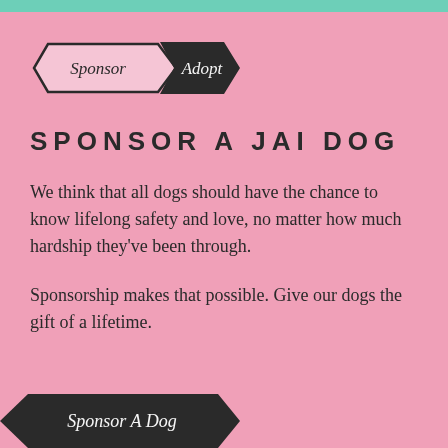[Figure (other): Navigation tabs: 'Sponsor' (outlined, pink background) and 'Adopt' (filled dark/black background) in arrow/chevron tab shapes]
SPONSOR A JAI DOG
We think that all dogs should have the chance to know lifelong safety and love, no matter how much hardship they've been through.
Sponsorship makes that possible. Give our dogs the gift of a lifetime.
[Figure (other): Dark button partially visible at bottom: 'Sponsor A Dog' in chevron/arrow shape]